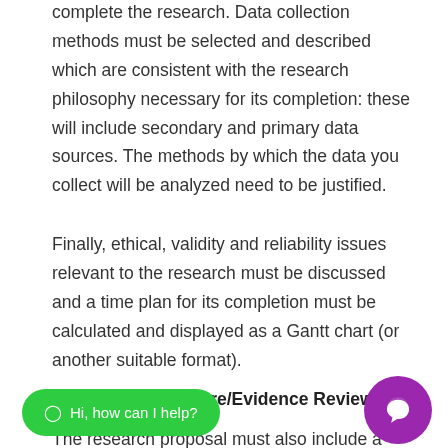complete the research. Data collection methods must be selected and described which are consistent with the research philosophy necessary for its completion: these will include secondary and primary data sources. The methods by which the data you collect will be analyzed need to be justified.
Finally, ethical, validity and reliability issues relevant to the research must be discussed and a time plan for its completion must be calculated and displayed as a Gantt chart (or another suitable format).
Task 2   The Literature/Evidence Review (50
The research proposal must also include a